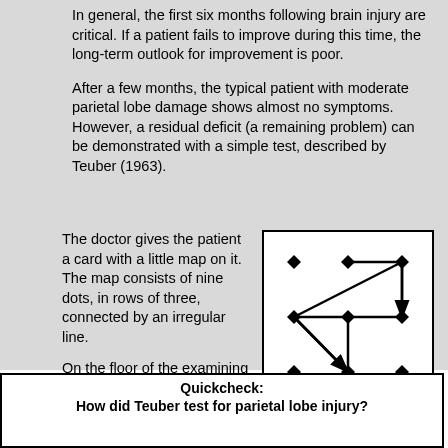In general, the first six months following brain injury are critical. If a patient fails to improve during this time, the long-term outlook for improvement is poor.
After a few months, the typical patient with moderate parietal lobe damage shows almost no symptoms. However, a residual deficit (a remaining problem) can be demonstrated with a simple test, described by Teuber (1963).
The doctor gives the patient a card with a little map on it. The map consists of nine dots, in rows of three, connected by an irregular line.
On the floor of the examining room is a similar pattern of nine dots, in three rows of three. The patient attempts to follow the path shown on the card, walking between the dots on the floor.
[Figure (illustration): Teuber's map: nine dots arranged in a 3x3 grid connected by an irregular line with arrows]
Teuber's map
Quickcheck:
How did Teuber test for parietal lobe injury?